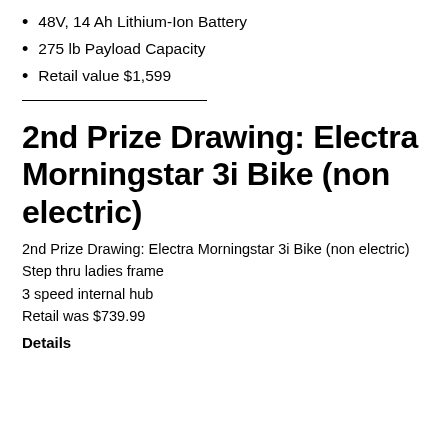48V, 14 Ah Lithium-Ion Battery
275 lb Payload Capacity
Retail value $1,599
2nd Prize Drawing: Electra Morningstar 3i Bike (non electric)
2nd Prize Drawing: Electra Morningstar 3i Bike (non electric)
Step thru ladies frame
3 speed internal hub
Retail was $739.99
Details